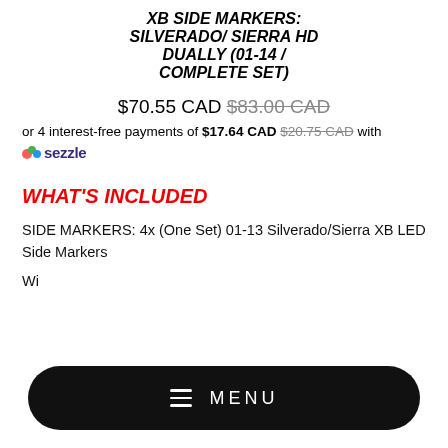XB SIDE MARKERS: SILVERADO/ SIERRA HD DUALLY (01-14 / COMPLETE SET)
$70.55 CAD $83.00 CAD
or 4 interest-free payments of $17.64 CAD $20.75 CAD with sezzle
WHAT'S INCLUDED
SIDE MARKERS: 4x (One Set) 01-13 Silverado/Sierra XB LED Side Markers
Wi
MENU